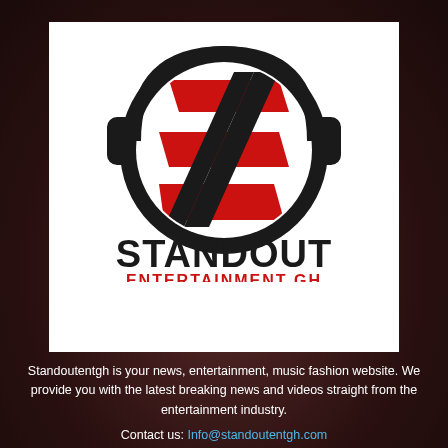[Figure (logo): Standout Entertainment GH logo: a red S-shaped swoosh inside a black circle with headphones, text STANDOUT in bold black and ENTERTAINMENT GH in bold red below]
Standoutentgh is your news, entertainment, music fashion website. We provide you with the latest breaking news and videos straight from the entertainment industry.
Contact us: Info@standoutentgh.com